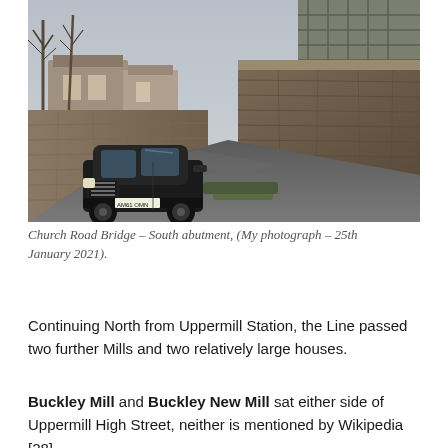[Figure (photo): Photograph of Church Road Bridge South abutment showing a dark BMW SUV on a narrow road flanked by large stone retaining walls, bare trees, and houses in the background. Taken 25th January 2021.]
Church Road Bridge – South abutment, (My photograph – 25th January 2021).
Continuing North from Uppermill Station, the Line passed two further Mills and two relatively large houses.
Buckley Mill and Buckley New Mill sat either side of Uppermill High Street, neither is mentioned by Wikipedia [28]